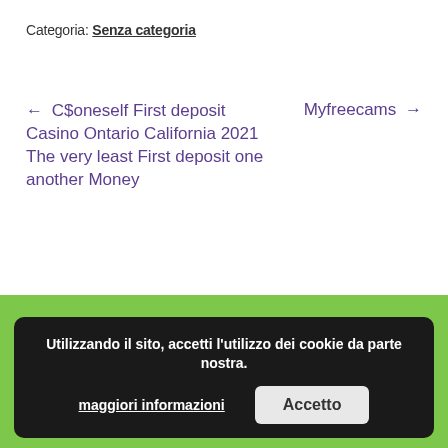Categoria: Senza categoria
← C$oneself First deposit Casino Ontario California 2021 The very least First deposit one another Money
Myfreecams →
Creart sas di Cassetta Michela e C.
Utilizzando il sito, accetti l'utilizzo dei cookie da parte nostra. maggiori informazioni  Accetto